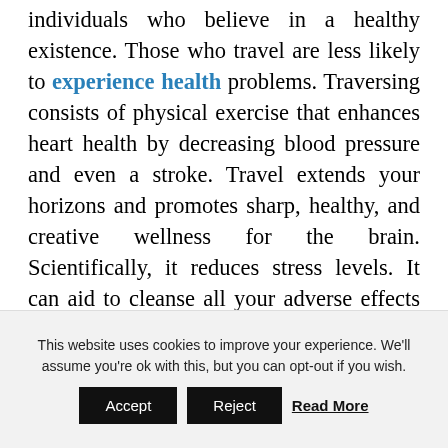individuals who believe in a healthy existence. Those who travel are less likely to experience health problems. Traversing consists of physical exercise that enhances heart health by decreasing blood pressure and even a stroke. Travel extends your horizons and promotes sharp, healthy, and creative wellness for the brain. Scientifically, it reduces stress levels. It can aid to cleanse all your adverse effects and make you both physically and mentally active and rejuvenating.
4. Facilitates practical education
This website uses cookies to improve your experience. We'll assume you're ok with this, but you can opt-out if you wish.